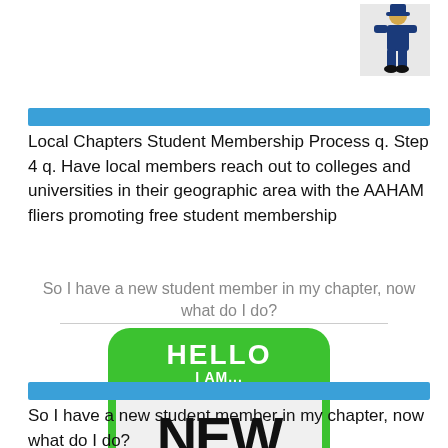[Figure (illustration): Small clip-art illustration of a person in a blue suit at top right corner]
Local Chapters Student Membership Process q. Step 4 q. Have local members reach out to colleges and universities in their geographic area with the AAHAM fliers promoting free student membership
So I have a new student member in my chapter, now what do I do?
[Figure (illustration): Hello I AM... NEW name tag badge in green and white with black handwritten NEW text]
So I have a new student member in my chapter, now what do I do?